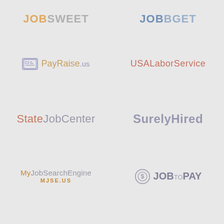[Figure (logo): JobSweet logo - partial, cropped at top]
[Figure (logo): JobBget logo - partial, cropped at top]
[Figure (logo): PayRaise.us logo with icon]
[Figure (logo): USALaborService logo]
[Figure (logo): StateJobCenter logo]
[Figure (logo): SurelyHired logo]
[Figure (logo): MyJobSearchEngine / MJSE.US logo]
[Figure (logo): JobToPay logo with circle-S icon]
[Figure (logo): YouJob.us logo - partial, cropped at bottom]
[Figure (logo): National - partial box logo, cropped at bottom]